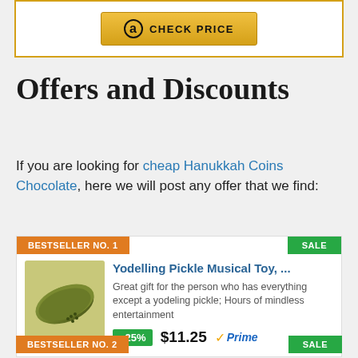[Figure (other): Amazon CHECK PRICE button inside a golden-bordered white box]
Offers and Discounts
If you are looking for cheap Hanukkah Coins Chocolate, here we will post any offer that we find:
[Figure (other): Product card: BESTSELLER NO. 1 / SALE badges, Yodelling Pickle Musical Toy product with image, description, -25% discount badge, $11.25 price, Prime logo]
BESTSELLER NO. 2 | SALE